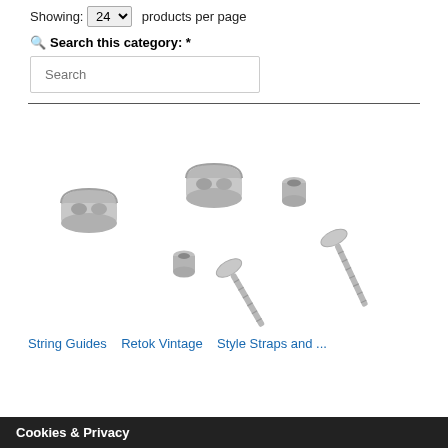Showing: 24 products per page
Search this category: *
Search
[Figure (photo): A set of small chrome/silver metal hardware pieces including two string guides/retainers, two small cylindrical spacers, and two screws with round heads, arranged on a white background.]
String Guides, Retok Vintage Style Straps and ...
Cookies & Privacy